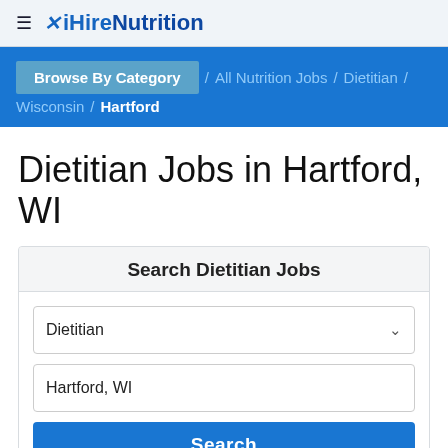≡ ✕ iHireNutrition
Browse By Category / All Nutrition Jobs / Dietitian / Wisconsin / Hartford
Dietitian Jobs in Hartford, WI
Search Dietitian Jobs
Dietitian
Hartford, WI
Search